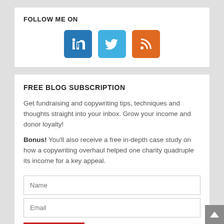FOLLOW ME ON
[Figure (infographic): Three social media icon buttons: LinkedIn (blue), Twitter (light blue), RSS (orange)]
FREE BLOG SUBSCRIPTION
Get fundraising and copywriting tips, techniques and thoughts straight into your inbox. Grow your income and donor loyalty!
Bonus! You'll also receive a free in-depth case study on how a copywriting overhaul helped one charity quadruple its income for a key appeal.